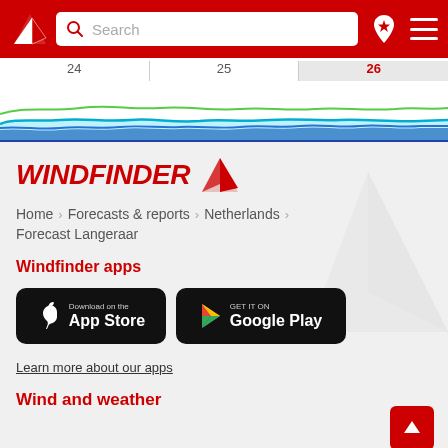Windfinder navigation bar with search
[Figure (continuous-plot): Wind forecast timeline chart showing dates 24, 25, 26 with colored wave lines (blue, teal, green) representing wind data over time]
[Figure (logo): Windfinder logo with italic red text WINDFINDER and red triangle/arrow icon]
Home > Forecasts & reports > Netherlands >
Forecast Langeraar
Windfinder apps
[Figure (screenshot): Download on the App Store button (black rounded rectangle)]
[Figure (screenshot): GET IT ON Google Play button (black rounded rectangle)]
Learn more about our apps
Wind and weather